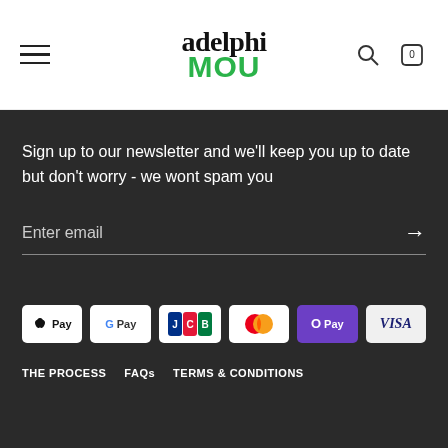[Figure (logo): Adelphi Mou logo — 'adelphi' in serif black, 'MOU' in bold green sans-serif]
Sign up to our newsletter and we'll keep you up to date but don't worry - we wont spam you
Enter email
[Figure (other): Payment method badges: Apple Pay, Google Pay, JCB, Mastercard, OPay, Visa]
THE PROCESS   FAQs   TERMS & CONDITIONS